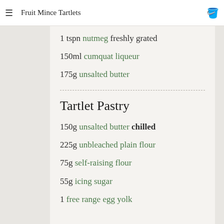Fruit Mince Tartlets
1 tspn nutmeg freshly grated
150ml cumquat liqueur
175g unsalted butter
Tartlet Pastry
150g unsalted butter chilled
225g unbleached plain flour
75g self-raising flour
55g icing sugar
1 free range egg yolk